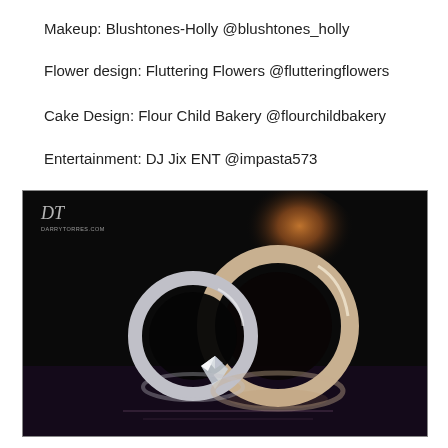Makeup: Blushtones-Holly @blushtones_holly
Flower design: Fluttering Flowers @flutteringflowers
Cake Design: Flour Child Bakery @flourchildbakery
Entertainment: DJ Jix ENT @impasta573
[Figure (photo): Close-up photograph of two wedding rings — a diamond engagement ring and a plain band — standing upright on a reflective dark surface with a warm amber/orange bokeh light in the background. The rings cast reflections on the purple-tinted surface below. A watermark 'DT darrytorres.com' appears in the upper left corner.]